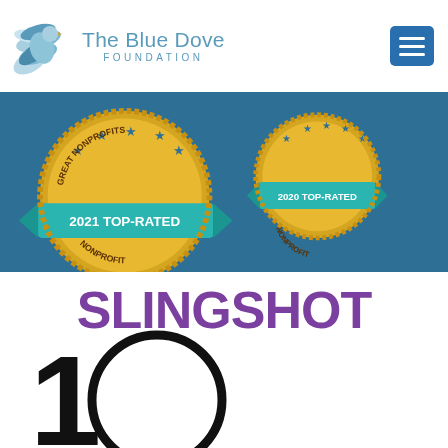[Figure (logo): The Blue Dove Foundation logo with blue dove bird SVG icon and text]
[Figure (infographic): Two award badges: 2021 Top-Rated Nonprofit and 2020 Top-Rated Nonprofit on a dark blue background]
[Figure (infographic): White card with purple SLINGSHOT text, large black 10 with circle, and cursive purple 'To Watch' text]